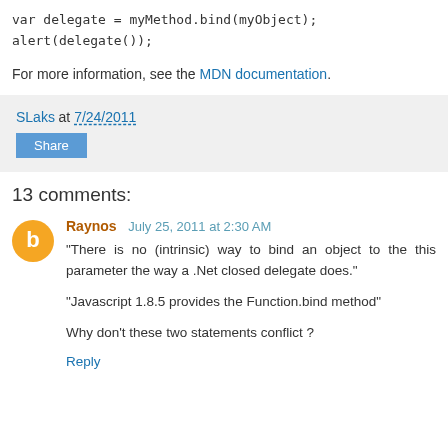var delegate = myMethod.bind(myObject);
alert(delegate());
For more information, see the MDN documentation.
SLaks at 7/24/2011
Share
13 comments:
Raynos July 25, 2011 at 2:30 AM
"There is no (intrinsic) way to bind an object to the this parameter the way a .Net closed delegate does."
"Javascript 1.8.5 provides the Function.bind method"
Why don't these two statements conflict ?
Reply